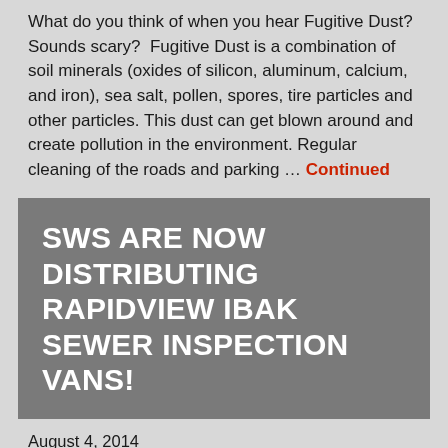What do you think of when you hear Fugitive Dust? Sounds scary? Fugitive Dust is a combination of soil minerals (oxides of silicon, aluminum, calcium, and iron), sea salt, pollen, spores, tire particles and other particles. This dust can get blown around and create pollution in the environment. Regular cleaning of the roads and parking … Continued
SWS ARE NOW DISTRIBUTING RAPIDVIEW IBAK SEWER INSPECTION VANS!
August 4, 2014
By Solid Waste Systems
[Figure (photo): A sewer inspection van with SWS and IBAK branding visible on the side, parked outdoors.]